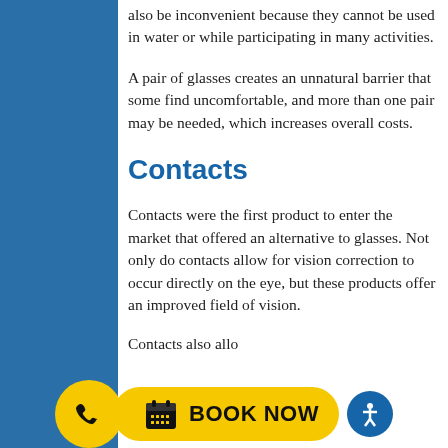also be inconvenient because they cannot be used in water or while participating in many activities.
A pair of glasses creates an unnatural barrier that some find uncomfortable, and more than one pair may be needed, which increases overall costs.
Contacts
Contacts were the first product to enter the market that offered an alternative to glasses. Not only do contacts allow for vision correction to occur directly on the eye, but these products offer an improved field of vision.
Contacts also allo...